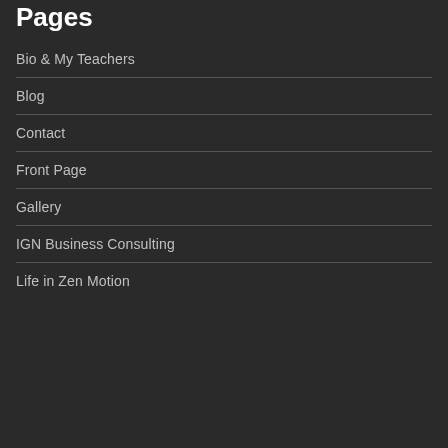Pages
Bio & My Teachers
Blog
Contact
Front Page
Gallery
IGN Business Consulting
Life in Zen Motion